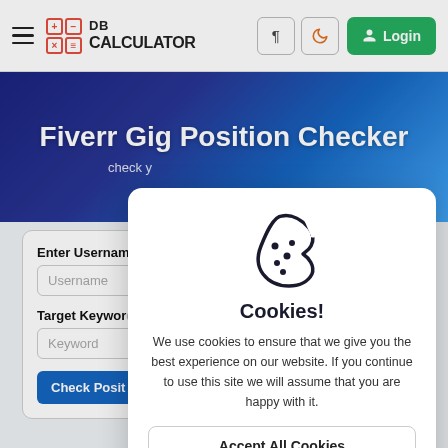DB CALCULATOR — navigation bar with hamburger menu, logo, paragraph/direction button, dark mode button, Login button
Fiverr Gig Position Checker
check your gig position on Fiverr for free
Enter Username
Username
Target Keyword
Keyword
Check Position
[Figure (illustration): Cookie icon — dark outline of a cookie with a bite taken out and chocolate chip dots]
Cookies!
We use cookies to ensure that we give you the best experience on our website. If you continue to use this site we will assume that you are happy with it.
Accept All Cookies